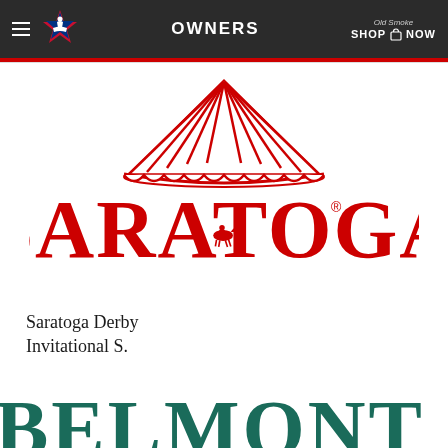OWNERS
[Figure (logo): Saratoga Race Course logo: red tent/marquee top with radiating stripes above large red SARATOGA text with horse racing silhouette in the O, registered trademark symbol]
Saratoga Derby Invitational S.
[Figure (logo): Partial view of large teal/dark green BELMONT text at bottom of page, cut off]